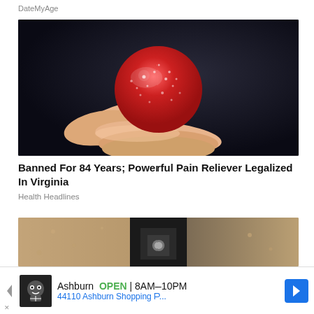DateMyAge
[Figure (photo): Close-up photo of fingers holding a red sugared gummy candy against a dark background]
Banned For 84 Years; Powerful Pain Reliever Legalized In Virginia
Health Headlines
[Figure (photo): Outdoor wall-mounted light fixture or security device on a textured beige stucco wall]
[Figure (infographic): Advertisement banner: Ashburn OPEN 8AM-10PM, 44110 Ashburn Shopping P... with a restaurant/food icon and navigation arrow]